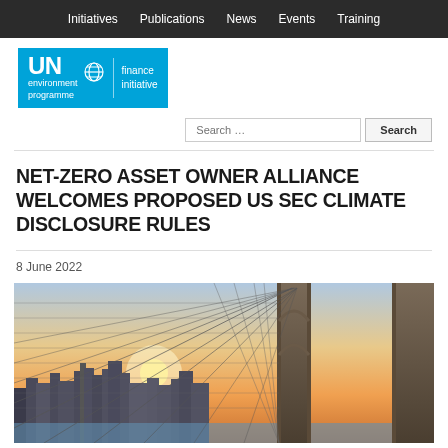Initiatives  Publications  News  Events  Training
[Figure (logo): UN Environment Programme Finance Initiative logo on blue background]
Search …
NET-ZERO ASSET OWNER ALLIANCE WELCOMES PROPOSED US SEC CLIMATE DISCLOSURE RULES
8 June 2022
[Figure (photo): View through Brooklyn Bridge cables toward New York City skyline at sunset with warm golden light]